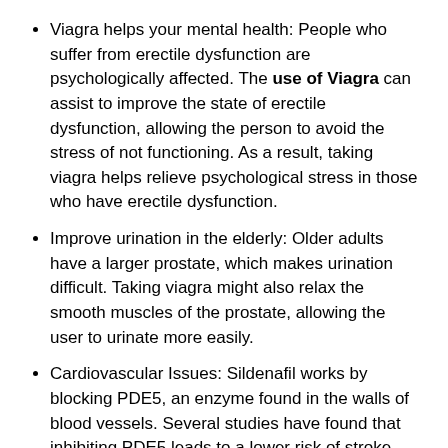Viagra helps your mental health: People who suffer from erectile dysfunction are psychologically affected. The use of Viagra can assist to improve the state of erectile dysfunction, allowing the person to avoid the stress of not functioning. As a result, taking viagra helps relieve psychological stress in those who have erectile dysfunction.
Improve urination in the elderly: Older adults have a larger prostate, which makes urination difficult. Taking viagra might also relax the smooth muscles of the prostate, allowing the user to urinate more easily.
Cardiovascular Issues: Sildenafil works by blocking PDE5, an enzyme found in the walls of blood vessels. Several studies have found that inhibiting PDE5 leads to a lower risk of stroke and heart attack.
Viagra and Aurogra: Dosage
The optimal dose of sildenafil is thought to be between